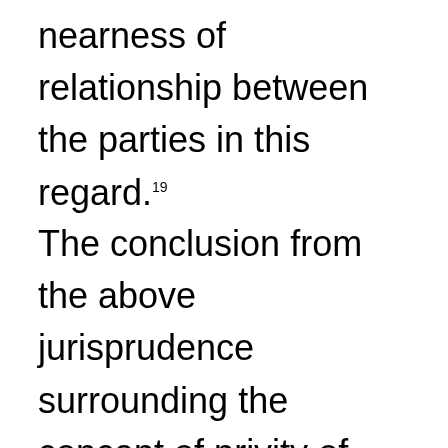nearness of relationship between the parties in this regard.¹⁹
The conclusion from the above jurisprudence surrounding the concept of privity of contracts has bearing on the analysis